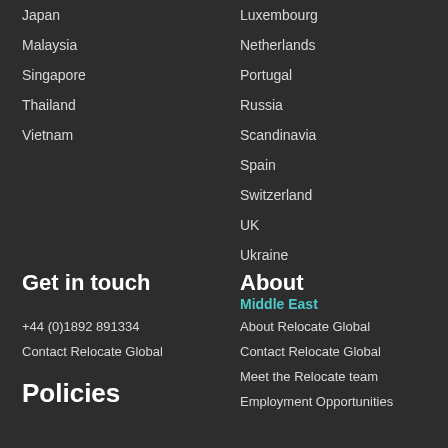Japan
Malaysia
Singapore
Thailand
Vietnam
Luxembourg
Netherlands
Portugal
Russia
Scandinavia
Spain
Switzerland
UK
Ukraine
Middle East
Get in touch
About
+44 (0)1892 891334
Contact Relocate Global
About Relocate Global
Contact Relocate Global
Meet the Relocate team
Employment Opportunities
Policies